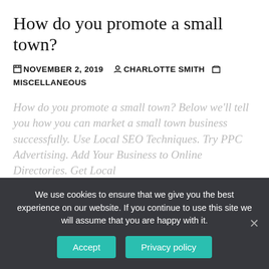How do you promote a small town?
NOVEMBER 2, 2019  CHARLOTTE SMITH  MISCELLANEOUS
How do you promote a small town? Below we'll tell you how you can market a small town business successfully. Use Local SEO Techniques. Try PPC Advertising. Add Your Business to Online Directories. Get Local
[Figure (other): Social share buttons row: Facebook, Twitter, Email, Pinterest, Reddit, WhatsApp, Telegram, Messenger, More]
We use cookies to ensure that we give you the best experience on our website. If you continue to use this site we will assume that you are happy with it.
Accept  Privacy policy